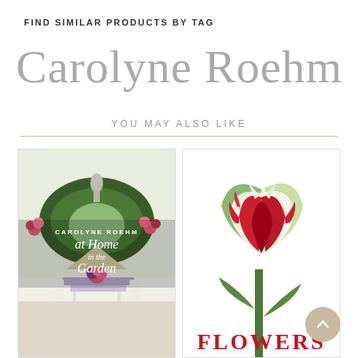FIND SIMILAR PRODUCTS BY TAG
Carolyne Roehm
YOU MAY ALSO LIKE
[Figure (photo): Book cover: Carolyne Roehm 'at Home in the Garden' showing a formal garden with stone statue, hedges, colorful flowers, and a table set with lavender tablecloth]
[Figure (photo): Book cover: 'Flowers' showing a close-up of a red and white parrot tulip on white background, with red text 'FLOWERS' at bottom]